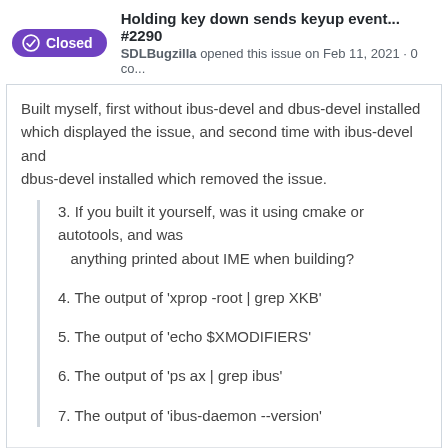Holding key down sends keyup event... #2290 SDLBugzilla opened this issue on Feb 11, 2021 · 0 co...
Built myself, first without ibus-devel and dbus-devel installed which displayed the issue, and second time with ibus-devel and dbus-devel installed which removed the issue.
3. If you built it yourself, was it using cmake or autotools, and was anything printed about IME when building?
4. The output of 'xprop -root | grep XKB'
5. The output of 'echo $XMODIFIERS'
6. The output of 'ps ax | grep ibus'
7. The output of 'ibus-daemon --version'
Will post answers to 3-7 tomorrow if you want them, when I have access